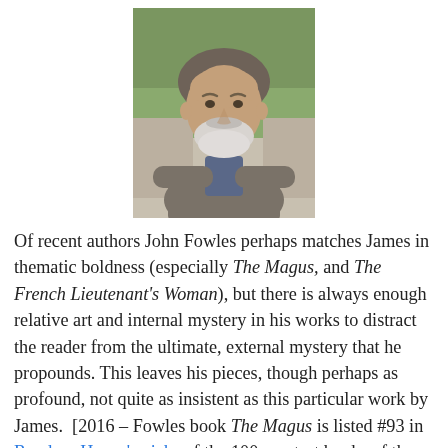[Figure (photo): Portrait photograph of an older bearded man with grey/white beard, wearing a grey tweed jacket, seated with arms folded, with green foliage in background.]
Of recent authors John Fowles perhaps matches James in thematic boldness (especially The Magus, and The French Lieutenant's Woman), but there is always enough relative art and internal mystery in his works to distract the reader from the ultimate, external mystery that he propounds. This leaves his pieces, though perhaps as profound, not quite as insistent as this particular work by James.  [2016 – Fowles book The Magus is listed #93 in Random House's picks of the 100 greatest books of the